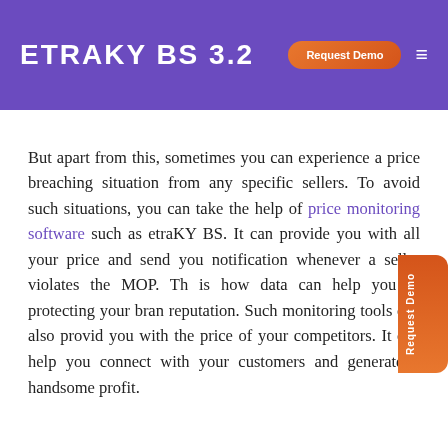ETRAKY BS 3.2
But apart from this, sometimes you can experience a price breaching situation from any specific sellers. To avoid such situations, you can take the help of price monitoring software such as etraKY BS. It can provide you with all your price and send you notification whenever a seller violates the MOP. This is how data can help you in protecting your brand reputation. Such monitoring tools can also provide you with the price of your competitors. It can help you connect with your customers and generate a handsome profit.